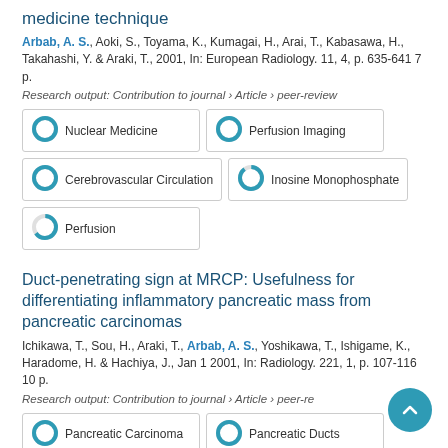medicine technique
Arbab, A. S., Aoki, S., Toyama, K., Kumagai, H., Arai, T., Kabasawa, H., Takahashi, Y. & Araki, T., 2001, In: European Radiology. 11, 4, p. 635-641 7 p.
Research output: Contribution to journal › Article › peer-review
[Figure (infographic): Fingerprint keyword donut charts: Nuclear Medicine, Perfusion Imaging, Cerebrovascular Circulation, Inosine Monophosphate, Perfusion]
Duct-penetrating sign at MRCP: Usefulness for differentiating inflammatory pancreatic mass from pancreatic carcinomas
Ichikawa, T., Sou, H., Araki, T., Arbab, A. S., Yoshikawa, T., Ishigame, K., Haradome, H. & Hachiya, J., Jan 1 2001, In: Radiology. 221, 1, p. 107-116 10 p.
Research output: Contribution to journal › Article › peer-re
[Figure (infographic): Fingerprint keyword donut charts: Pancreatic Carcinoma, Pancreatic Ducts]